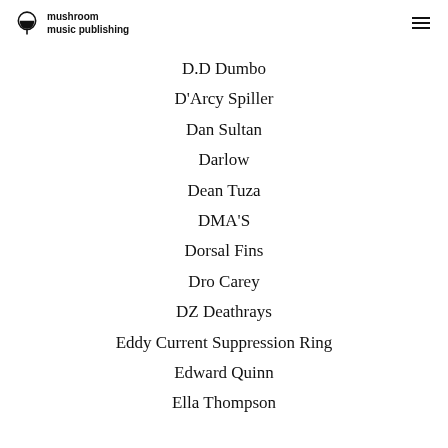mushroom music publishing
D.D Dumbo
D'Arcy Spiller
Dan Sultan
Darlow
Dean Tuza
DMA'S
Dorsal Fins
Dro Carey
DZ Deathrays
Eddy Current Suppression Ring
Edward Quinn
Ella Thompson